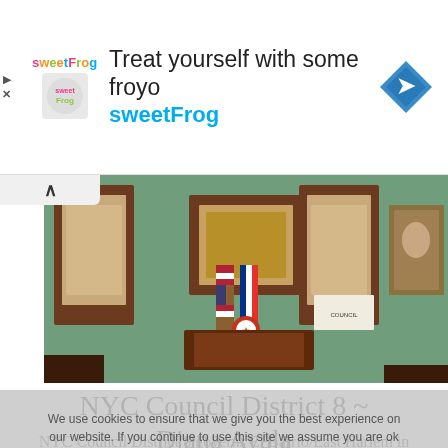[Figure (other): SweetFrog advertisement banner with logo, headline 'Treat yourself with some froyo', brand name 'sweetFrog', and a blue navigation arrow icon]
[Figure (photo): Interior of NYC Council chamber showing ornate wood paneling, green walls, American flag, NYC flag, and a portrait painting on the right wall]
NYC Council District 8 ~ Diana Ayala
NYC Council District 8 governs El Barrio/East Harlem in Manhattan and in The Bronx: Highbridge, Concourse, Mott Haven, Port Morris, Randall's Island and Longwood. NYC Council
We use cookies to ensure that we give you the best experience on our website. If you continue to use this site we assume you are ok with it.